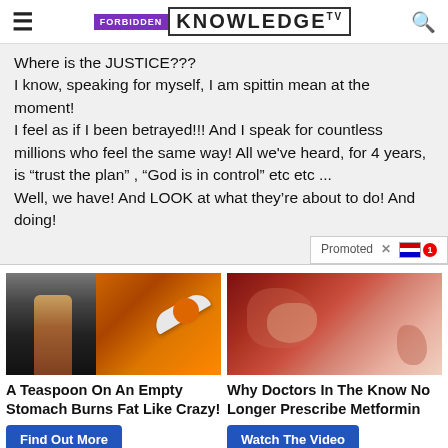FORBIDDEN KNOWLEDGE TV
Where is the JUSTICE???
I know, speaking for myself, I am spittin mean at the moment!
I feel as if I been betrayed!!! And I speak for countless millions who feel the same way! All we've heard, for 4 years, is “trust the plan” , “God is in control” etc etc ...
Well, we have! And LOOK at what they’re about to do! And doing!
[Figure (photo): Advertisement image showing a fitness person and spice on a spoon - left ad]
[Figure (photo): Advertisement image showing medical/anatomical image of intestines - right ad]
A Teaspoon On An Empty Stomach Burns Fat Like Crazy!
Find Out More
Why Doctors In The Know No Longer Prescribe Metformin
Watch The Video